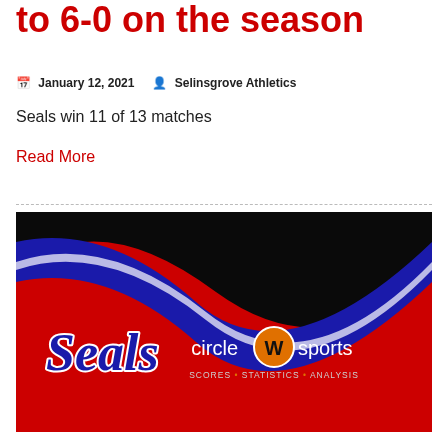to 6-0 on the season
January 12, 2021   Selinsgrove Athletics
Seals win 11 of 13 matches
Read More
[Figure (logo): Seals and Circle Sports logo banner on black and red background with wave design. Text reads: Seals circle sports SCORES STATISTICS ANALYSIS]